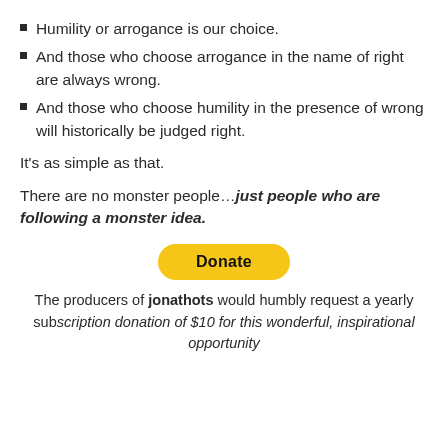Humility or arrogance is our choice.
And those who choose arrogance in the name of right are always wrong.
And those who choose humility in the presence of wrong will historically be judged right.
It’s as simple as that.
There are no monster people…just people who are following a monster idea.
[Figure (other): PayPal Donate button, yellow rounded rectangle with bold text 'Donate']
The producers of jonathots would humbly request a yearly subscription donation of $10 for this wonderful, inspirational opportunity